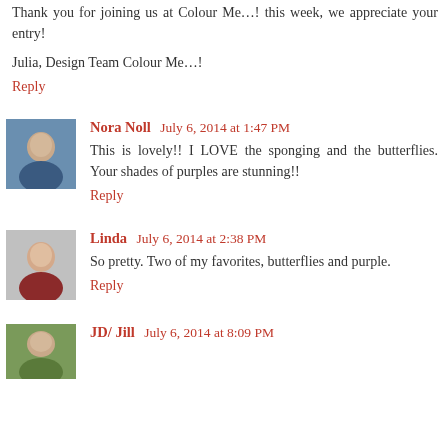Thank you for joining us at Colour Me…! this week, we appreciate your entry!
Julia, Design Team Colour Me…!
Reply
Nora Noll  July 6, 2014 at 1:47 PM
This is lovely!! I LOVE the sponging and the butterflies. Your shades of purples are stunning!!
Reply
Linda  July 6, 2014 at 2:38 PM
So pretty. Two of my favorites, butterflies and purple.
Reply
JD/ Jill  July 6, 2014 at 8:09 PM